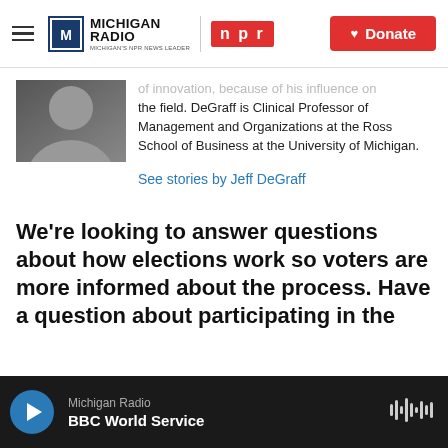Michigan Radio | NPR | Donate
[Figure (photo): Partial author photo cropped on left side]
of innovation, because of his influence on the field. DeGraff is Clinical Professor of Management and Organizations at the Ross School of Business at the University of Michigan.
See stories by Jeff DeGraff
We're looking to answer questions about how elections work so voters are more informed about the process. Have a question about participating in the
Michigan Radio — BBC World Service (audio player)